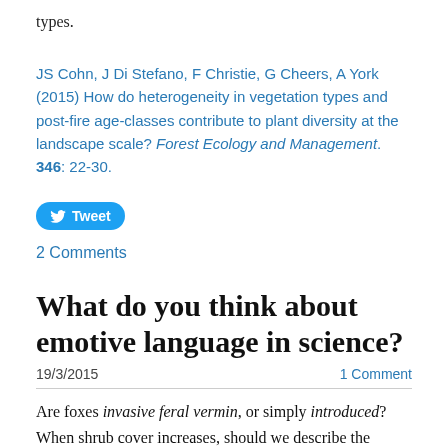types.
JS Cohn, J Di Stefano, F Christie, G Cheers, A York (2015) How do heterogeneity in vegetation types and post-fire age-classes contribute to plant diversity at the landscape scale? Forest Ecology and Management. 346: 22-30.
[Figure (other): Tweet button]
2 Comments
What do you think about emotive language in science?
19/3/2015 · 1 Comment
Are foxes invasive feral vermin, or simply introduced? When shrub cover increases, should we describe the process as shrub encroachment, invasion, expansion or woody thickening? Does it make a difference if the shrub species is indigenous?